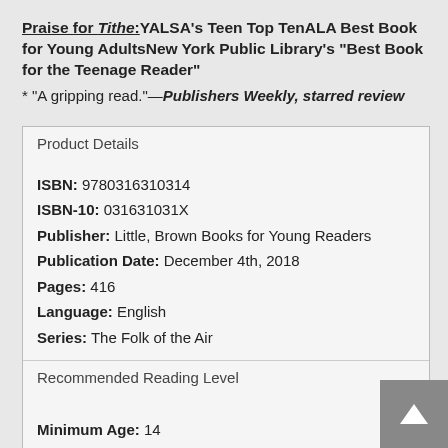Praise for Tithe: YALSA's Teen Top Ten ALA Best Book for Young Adults New York Public Library's "Best Book for the Teenage Reader"
* "A gripping read."—Publishers Weekly, starred review
Product Details
ISBN: 9780316310314
ISBN-10: 031631031X
Publisher: Little, Brown Books for Young Readers
Publication Date: December 4th, 2018
Pages: 416
Language: English
Series: The Folk of the Air
Recommended Reading Level
Minimum Age: 14